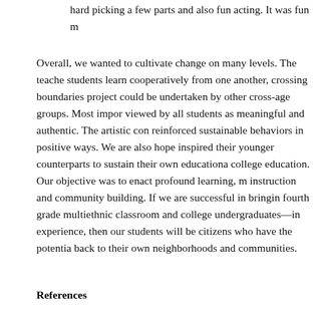hard picking a few parts and also fun acting. It was fun m
Overall, we wanted to cultivate change on many levels. The teache students learn cooperatively from one another, crossing boundaries project could be undertaken by other cross-age groups. Most impor viewed by all students as meaningful and authentic. The artistic con reinforced sustainable behaviors in positive ways. We are also hope inspired their younger counterparts to sustain their own educationa college education. Our objective was to enact profound learning, m instruction and community building. If we are successful in bringin fourth grade multiethnic classroom and college undergraduates—in experience, then our students will be citizens who have the potentia back to their own neighborhoods and communities.
References